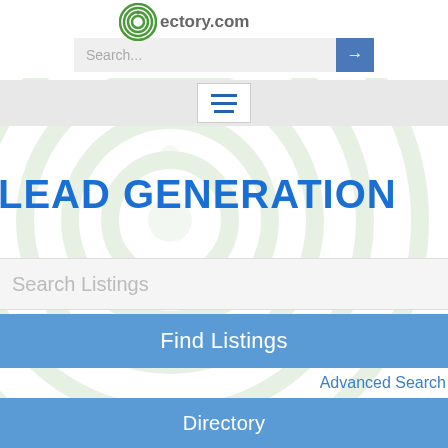[Figure (logo): Circular green concentric rings logo icon for a directory website]
Search...
☰ (hamburger menu button)
LEAD GENERATION
Search Listings
Find Listings
Advanced Search
Directory